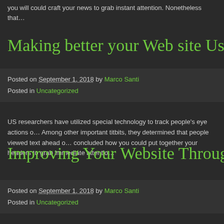you will could craft your news to grab instant attention. Nonetheless that…
Making better your Web site Using Movem…
Posted on September 1, 2018 by Marco Santi
Posted in Uncategorized
US researchers have utilized special technology to track people's eye actions o… Among other important titbits, they determined that people viewed text ahead o… concluded how you could put together your headers to grab immediate attentio…
Improving Your Website Through Movem…
Posted on September 1, 2018 by Marco Santi
Posted in Uncategorized